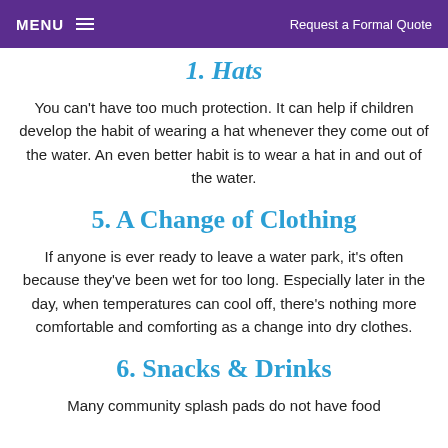MENU  Request a Formal Quote
1. Hats
You can't have too much protection. It can help if children develop the habit of wearing a hat whenever they come out of the water. An even better habit is to wear a hat in and out of the water.
5. A Change of Clothing
If anyone is ever ready to leave a water park, it's often because they've been wet for too long. Especially later in the day, when temperatures can cool off, there's nothing more comfortable and comforting as a change into dry clothes.
6. Snacks & Drinks
Many community splash pads do not have food